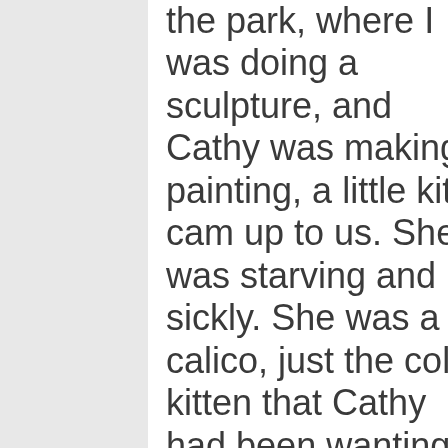the park, where I was doing a sculpture, and Cathy was making a painting, a little kitty cam up to us. She was starving and sickly. She was a calico, just the color kitten that Cathy had been wanting. I took her home by taxi. We took a bus to this park from where we live. I was locked out of our apartment, and the neighbor wasn't home. So I had to break our screen to get in. Then I went back to the park. When we got back home, the kitten had terrible diarrhea. We called Jon, and he took us to the